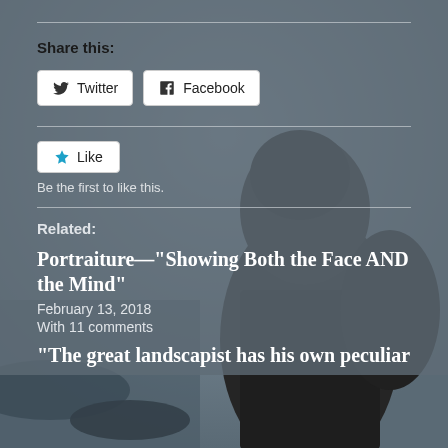[Figure (photo): Dark background photo of a hooded figure viewed from behind, standing near water in a moody grey atmosphere]
Share this:
[Figure (screenshot): Twitter and Facebook share buttons rendered as white rounded-rectangle buttons with icons]
[Figure (screenshot): Like button (star icon, white rounded rectangle) with text 'Be the first to like this.']
Related:
Portraiture—“Showing Both the Face AND the Mind”
February 13, 2018
With 11 comments
“The great landscapist has his own peculiar